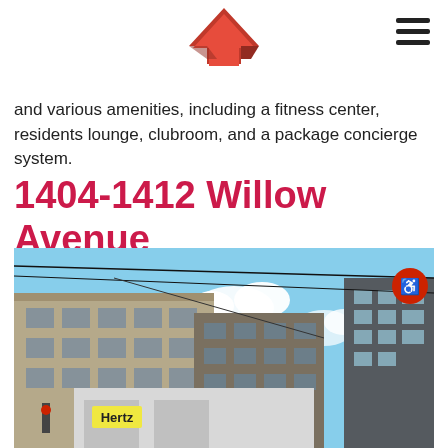[Figure (logo): Red upward arrow logo (stylized house/arrow icon in red)]
and various amenities, including a fitness center, residents lounge, clubroom, and a package concierge system.
1404-1412 Willow Avenue
[Figure (photo): Street-level photo of urban apartment buildings with a Hertz rental car location visible at street level, power lines overhead, blue sky with clouds in background.]